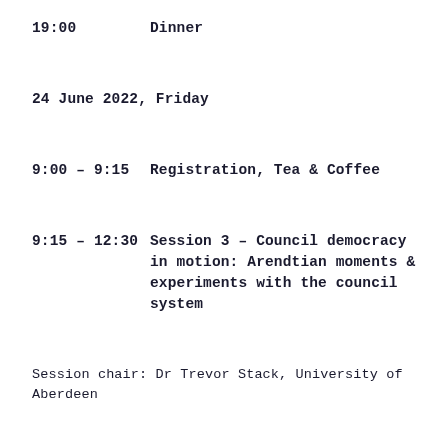19:00    Dinner
24 June 2022, Friday
9:00 – 9:15    Registration, Tea & Coffee
9:15 – 12:30    Session 3 – Council democracy in motion: Arendtian moments & experiments with the council system
Session chair: Dr Trevor Stack, University of Aberdeen